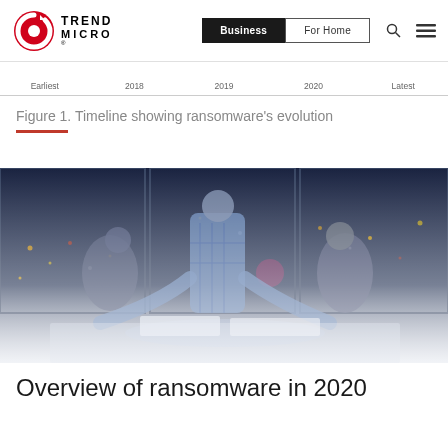Trend Micro | Business | For Home
[Figure (other): Timeline axis labels: Earliest, 2018, 2019, 2020, Latest — showing ransomware's evolution timeline]
Figure 1. Timeline showing ransomware's evolution
[Figure (photo): Three people leaning over a table at night in a dark office with city lights in background, appearing to work on documents or a laptop]
Overview of ransomware in 2020